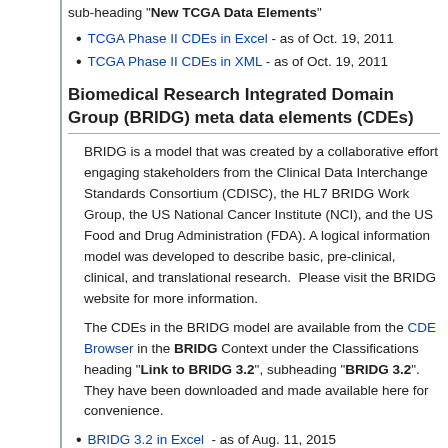sub-heading "New TCGA Data Elements"
TCGA Phase II CDEs in Excel - as of Oct. 19, 2011
TCGA Phase II CDEs in XML - as of Oct. 19, 2011
Biomedical Research Integrated Domain Group (BRIDG) meta data elements (CDEs)
BRIDG is a model that was created by a collaborative effort engaging stakeholders from the Clinical Data Interchange Standards Consortium (CDISC), the HL7 BRIDG Work Group, the US National Cancer Institute (NCI), and the US Food and Drug Administration (FDA). A logical information model was developed to describe basic, pre-clinical, clinical, and translational research.  Please visit the BRIDG website for more information.
The CDEs in the BRIDG model are available from the CDE Browser in the BRIDG Context under the Classifications heading "Link to BRIDG 3.2", subheading "BRIDG 3.2". They have been downloaded and made available here for convenience.
BRIDG 3.2 in Excel  - as of Aug. 11, 2015
BRIDG 3.2 in XML - as of Aug. 11, 2015